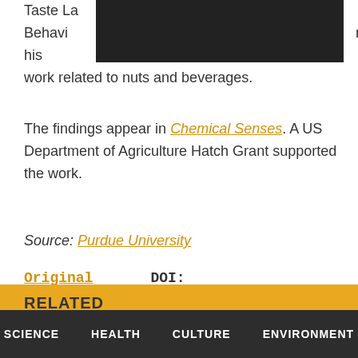Taste La[redacted] Behavior[redacted] for his work related to nuts and beverages.
The findings appear in Chemical Senses. A US Department of Agriculture Hatch Grant supported the work.
Source: Purdue University
Original Study    DOI: 10.1093/chemse/bjv036
RELATED
SCIENCE   HEALTH   CULTURE   ENVIRONMENT